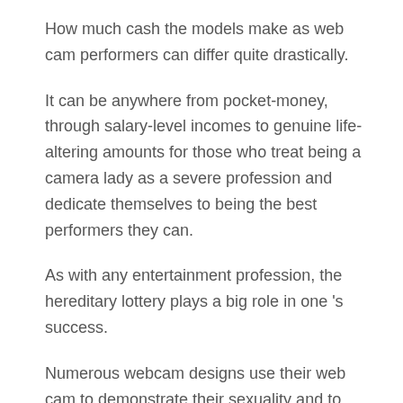How much cash the models make as web cam performers can differ quite drastically.
It can be anywhere from pocket-money, through salary-level incomes to genuine life-altering amounts for those who treat being a camera lady as a severe profession and dedicate themselves to being the best performers they can.
As with any entertainment profession, the hereditary lottery plays a big role in one 's success.
Numerous webcam designs use their web cam to demonstrate their sexuality and to have a little enjoyable.
They likewise provide a service, which is the capability to be supervised while they masturbate themselves or watch other people masturbating. How To Cancel Chaturbate Premium